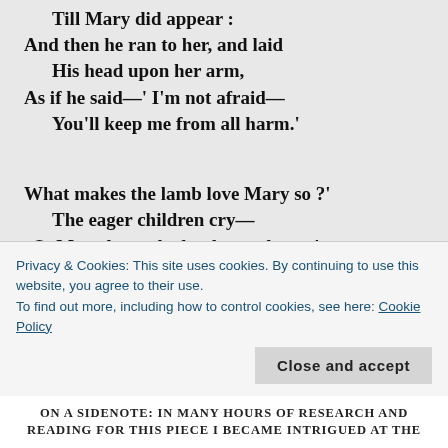Till Mary did appear :
And then he ran to her, and laid
  His head upon her arm,
As if he said—' I'm not afraid—
  You'll keep me from all harm.'

What makes the lamb love Mary so ?'
  The eager children cry—
 O, Mary loves the lamb, you know,'
  The Teacher did reply ;—
And you each gentle animal
  In confidence may bind,
And make them follow at your call,
Privacy & Cookies: This site uses cookies. By continuing to use this website, you agree to their use.
To find out more, including how to control cookies, see here: Cookie Policy
Close and accept
ON A SIDENOTE: IN MANY HOURS OF RESEARCH AND READING FOR THIS PIECE I BECAME INTRIGUED AT THE